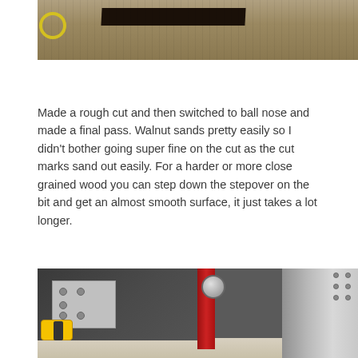[Figure (photo): Close-up photo of CNC milling or routing operation on wood/aggregate material, showing a dark wooden bar or rail with gravel/wood chips debris and a yellow circular element on the left]
Made a rough cut and then switched to ball nose and made a final pass. Walnut sands pretty easily so I didn't bother going super fine on the cut as the cut marks sand out easily. For a harder or more close grained wood you can step down the stepover on the bit and get an almost smooth surface, it just takes a lot longer.
[Figure (photo): Photo of CNC machine components showing metal rails, a red vertical column, a grey metal panel with bolts/holes, a large spherical bolt, metal extrusion framing on the right side, and a yellow DeWalt tool at the bottom left]